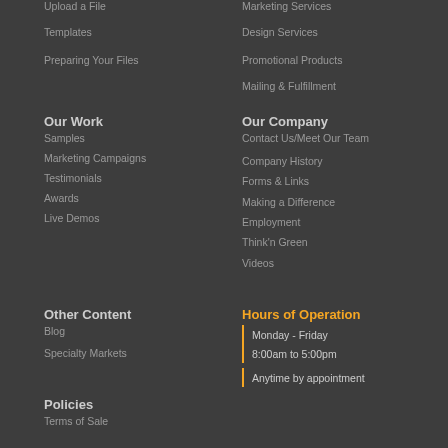Upload a File
Templates
Preparing Your Files
Marketing Services
Design Services
Promotional Products
Mailing & Fulfillment
Our Work
Samples
Marketing Campaigns
Testimonials
Awards
Live Demos
Our Company
Contact Us/Meet Our Team
Company History
Forms & Links
Making a Difference
Employment
Think'n Green
Videos
Other Content
Blog
Specialty Markets
Hours of Operation
Monday - Friday
8:00am to 5:00pm
Anytime by appointment
Policies
Terms of Sale